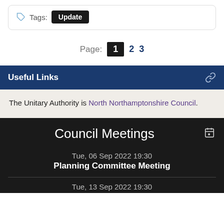Tags: Update
Page: 1 2 3
Useful Links
The Unitary Authority is North Northamptonshire Council.
Council Meetings
Tue, 06 Sep 2022 19:30
Planning Committee Meeting
Tue, 13 Sep 2022 19:30